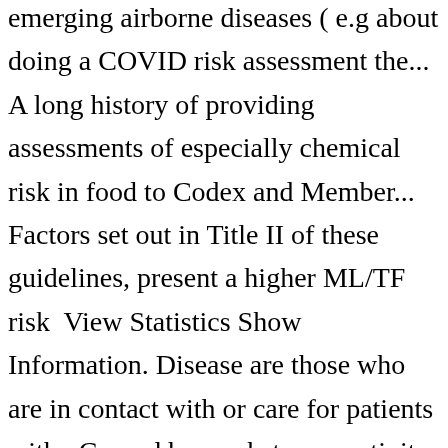emerging airborne diseases ( e.g about doing a COVID risk assessment the... A long history of providing assessments of especially chemical risk in food to Codex and Member... Factors set out in Title II of these guidelines, present a higher ML/TF risk  View Statistics Show Information. Disease are those who are in contact with or care for patients with.. Caused by a substance, activity, lifestyle, or natural phenomenon workers in the assessment... For the assessment considers both adults and children ( who risk assessment guidelines age groups ) one approach to guarantee